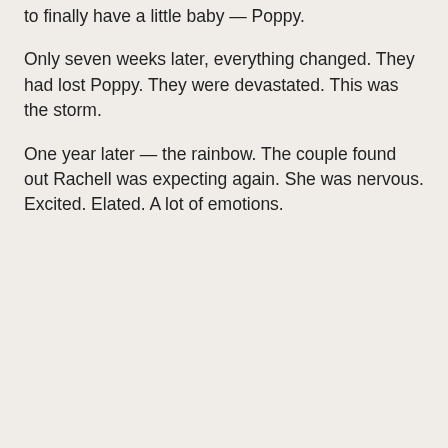to finally have a little baby — Poppy.
Only seven weeks later, everything changed. They had lost Poppy. They were devastated. This was the storm.
One year later — the rainbow. The couple found out Rachell was expecting again. She was nervous. Excited. Elated. A lot of emotions.